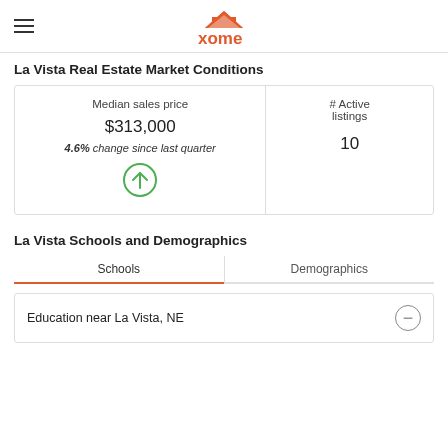xome
La Vista Real Estate Market Conditions
| Median sales price | # Active listings |
| --- | --- |
| $313,000
4.6% change since last quarter ↑ | 10 |
La Vista Schools and Demographics
Schools | Demographics
Education near La Vista, NE